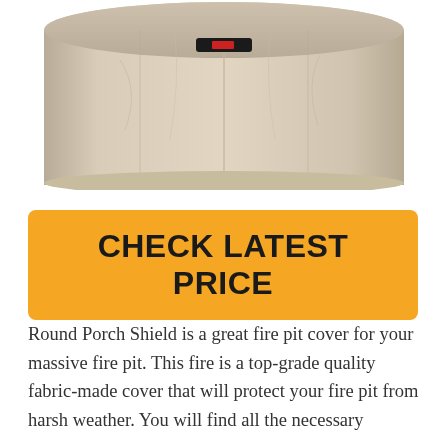[Figure (photo): Bottom portion of a round beige/tan fire pit cover with a black strap and red label, shown against a white background]
CHECK LATEST PRICE
Round Porch Shield is a great fire pit cover for your massive fire pit. This fire is a top-grade quality fabric-made cover that will protect your fire pit from harsh weather. You will find all the necessary